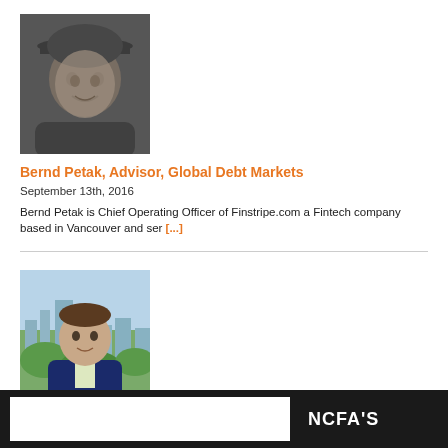[Figure (photo): Black and white photo of Bernd Petak wearing a cap]
Bernd Petak, Advisor, Global Debt Markets
September 13th, 2016
Bernd Petak is Chief Operating Officer of Finstripe.com a Fintech company based in Vancouver and ser [...]
[Figure (photo): Color photo of Cato Pastoll in a suit with city skyline background]
Cato Pastoll, Advisor, P2P Lending
August 31st, 2015
Cato Pastoll is the CEO and Co-Founder of Lending Loop, Canada's first peer-to-peer lending mark [...]
NCFA'S